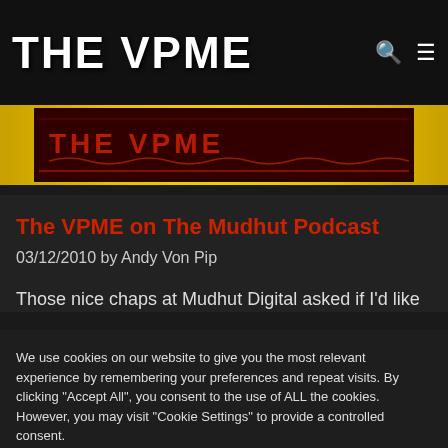THE VPME
[Figure (illustration): THE VPME website logo banner with dark background and red decorative text]
The VPME on The Mudhut Podcast
03/12/2010 by Andy Von Pip
Those nice chaps at Mudhut Digital asked if I'd like
We use cookies on our website to give you the most relevant experience by remembering your preferences and repeat visits. By clicking "Accept All", you consent to the use of ALL the cookies. However, you may visit "Cookie Settings" to provide a controlled consent.
Cookie Settings | Accept All